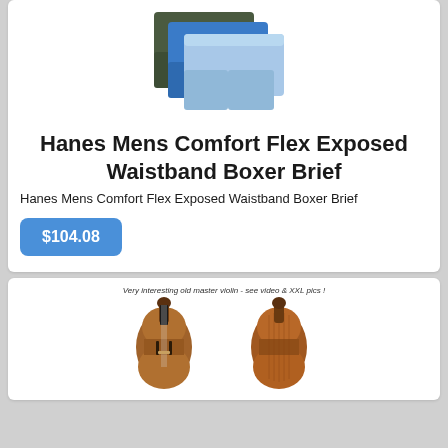[Figure (photo): Stacked boxer briefs in dark green, blue, and light blue colors]
Hanes Mens Comfort Flex Exposed Waistband Boxer Brief
Hanes Mens Comfort Flex Exposed Waistband Boxer Brief
$104.08
[Figure (photo): Old master violin shown from front and back views]
Very interesting old master violin - see video & XXL pics !